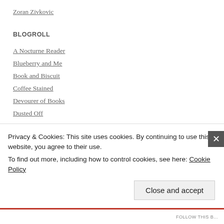Zoran Zivkovic
BLOGROLL
A Nocturne Reader
Blueberry and Me
Book and Biscuit
Coffee Stained
Devourer of Books
Dusted Off
SKrishna's Books
Privacy & Cookies: This site uses cookies. By continuing to use this website, you agree to their use. To find out more, including how to control cookies, see here: Cookie Policy
Close and accept